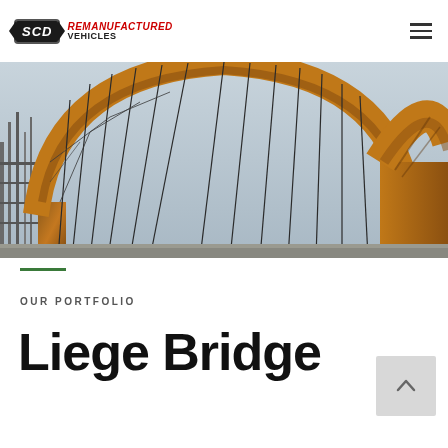SCD REMANUFACTURED VEHICLES
[Figure (photo): Close-up photograph of a large steel arch bridge structure under construction or maintenance. The arch is made of rusty/weathered orange-brown steel, with diagonal cable stays and cross-bracing visible against a light blue-grey sky.]
OUR PORTFOLIO
Liege Bridge